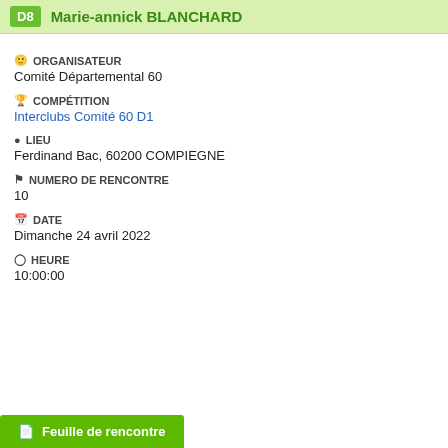D8  Marie-annick BLANCHARD
ORGANISATEUR
Comité Départemental 60
COMPÉTITION
Interclubs Comité 60 D1
LIEU
Ferdinand Bac, 60200 COMPIEGNE
NUMERO DE RENCONTRE
10
DATE
Dimanche 24 avril 2022
HEURE
10:00:00
Feuille de rencontre